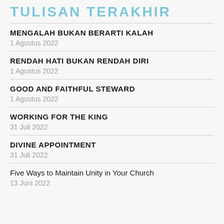TULISAN TERAKHIR
MENGALAH BUKAN BERARTI KALAH
1 Agustus 2022
RENDAH HATI BUKAN RENDAH DIRI
1 Agustus 2022
GOOD AND FAITHFUL STEWARD
1 Agustus 2022
WORKING FOR THE KING
31 Juli 2022
DIVINE APPOINTMENT
31 Juli 2022
Five Ways to Maintain Unity in Your Church
13 Juni 2022